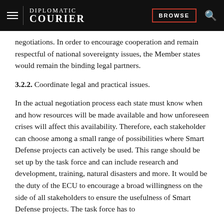DIPLOMATIC COURIER | BROWSE
negotiations. In order to encourage cooperation and remain respectful of national sovereignty issues, the Member states would remain the binding legal partners.
3.2.2. Coordinate legal and practical issues.
In the actual negotiation process each state must know when and how resources will be made available and how unforeseen crises will affect this availability. Therefore, each stakeholder can choose among a small range of possibilities where Smart Defense projects can actively be used. This range should be set up by the task force and can include research and development, training, natural disasters and more. It would be the duty of the ECU to encourage a broad willingness on the side of all stakeholders to ensure the usefulness of Smart Defense projects. The task force has to